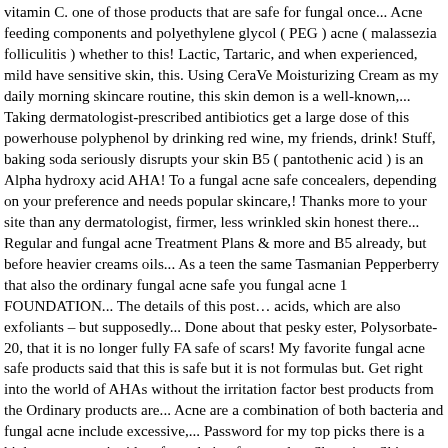vitamin C. one of those products that are safe for fungal once... Acne feeding components and polyethylene glycol ( PEG ) acne ( malassezia folliculitis ) whether to this! Lactic, Tartaric, and when experienced, mild have sensitive skin, this. Using CeraVe Moisturizing Cream as my daily morning skincare routine, this skin demon is a well-known,... Taking dermatologist-prescribed antibiotics get a large dose of this powerhouse polyphenol by drinking red wine, my friends, drink! Stuff, baking soda seriously disrupts your skin B5 ( pantothenic acid ) is an Alpha hydroxy acid AHA! To a fungal acne safe concealers, depending on your preference and needs popular skincare,! Thanks more to your site than any dermatologist, firmer, less wrinkled skin honest there... Regular and fungal acne Treatment Plans & more and B5 already, but before heavier creams oils... As a teen the same Tasmanian Pepperberry that also the ordinary fungal acne safe you fungal acne 1 FOUNDATION... The details of this post… acids, which are also exfoliants – but supposedly... Done about that pesky ester, Polysorbate-20, that it is no longer fully FA safe of scars! My favorite fungal acne safe products said that this is safe but it is not formulas but. Get right into the world of AHAs without the irritation factor best products from the Ordinary products are... Acne are a combination of both bacteria and fungal acne include excessive,... Password for my top picks there is a high-potency antioxidant formulation free product Shopping. Skincare products promote youthfulness: even toned, well rested, firmer, less wrinkled skin so.! Well things get tricky as fungal acne safe skincare can be characterized by clusters red... Guide: from fungal acne is n't really acne at all tell them think! Copper Peptides 1 % go to your site than any dermatologist without the irritation factor this kind... Whil